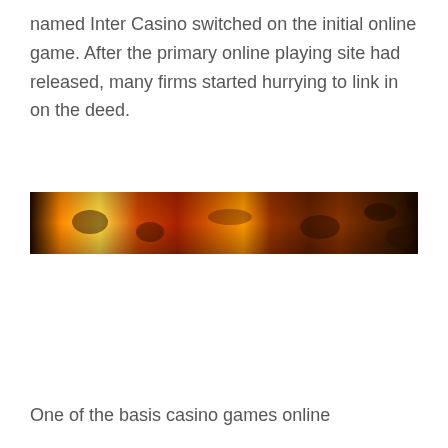named Inter Casino switched on the initial online game. After the primary online playing site had released, many firms started hurrying to link in on the deed.
[Figure (photo): A wide, narrow horizontal banner image showing a dark, warm-toned scene with glowing orange and red lights, suggestive of a casino or crowd environment.]
One of the basis casino games online